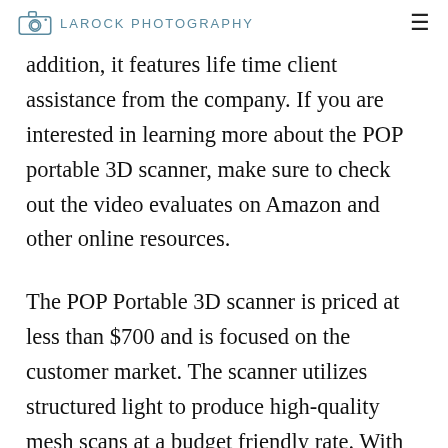LAROCK PHOTOGRAPHY
addition, it features life time client assistance from the company. If you are interested in learning more about the POP portable 3D scanner, make sure to check out the video evaluates on Amazon and other online resources.
The POP Portable 3D scanner is priced at less than $700 and is focused on the customer market. The scanner utilizes structured light to produce high-quality mesh scans at a budget friendly rate. With its low price tag and multi-terminal